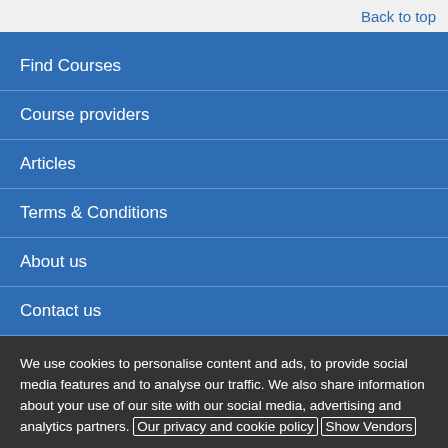Back to top
Find Courses
Course providers
Articles
Terms & Conditions
About us
Contact us
We use cookies to personalise content and ads, to provide social media features and to analyse our traffic. We also share information about your use of our site with our social media, advertising and analytics partners. Our privacy and cookie policy Show Vendors